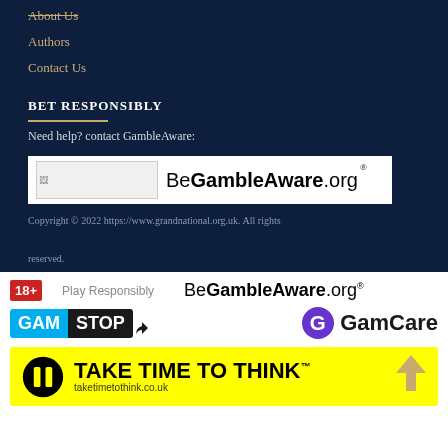About Us
Authors
Contact Us
BET RESPONSIBLY
Need help? contact GambleAware:
[Figure (logo): BeGambleAware.org logo on white background with registered trademark symbol]
Copyright © 2022 https://www.grandnational.org.uk. All rights reserved.
[Figure (logo): 18+ Play Responsibly badge and BeGambleAware.org logo]
[Figure (logo): GAMSTOP logo and GamCare logo]
[Figure (logo): Take Time To Think logo on yellow background with taketimetothink.co.uk URL]